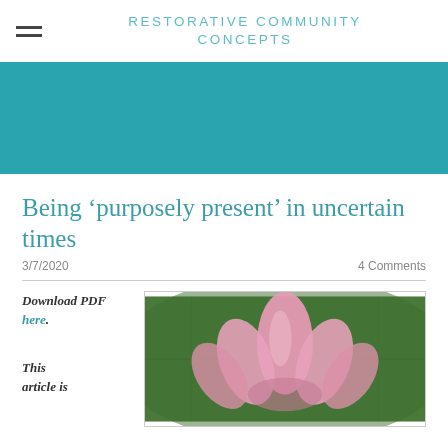RESTORATIVE COMMUNITY CONCEPTS
[Figure (photo): Teal/dark cyan solid color banner header image]
Being ‘purposely present’ in uncertain times
3/7/2020
4 Comments
Download PDF here.
[Figure (photo): Close-up photograph of a pink lotus flower bud against a green leaf background]
This article is